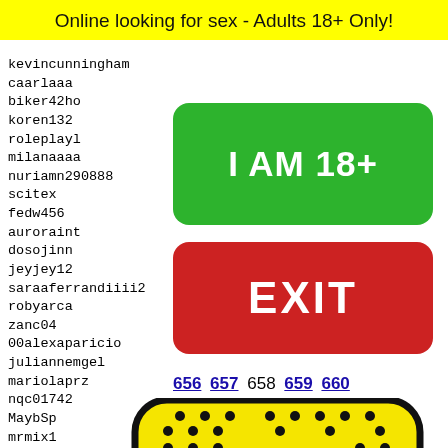Online looking for sex - Adults 18+ Only!
kevincunningham
caarlaaa
biker42ho
koren132
roleplayl
milanaaaa
nuriamn290888
scitex
fedw456
auroraint
dosojinn
jeyjey12
saraaferrandiiii2
robyarca
zanc04
00alexaparicio
juliannemgel
mariolaprz
nqc01742
MaybSp
mrmix1
bigl12
violet
mariio
thobas
[Figure (other): Green button with white bold text: I AM 18+]
[Figure (other): Red button with white bold text: EXIT]
656 657 658 659 660
[Figure (illustration): Yellow paddle-shaped object with black dots (padel racket) with emoji face at bottom]